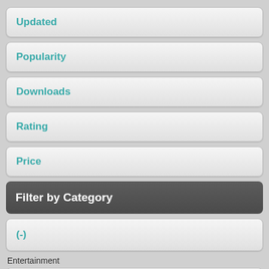Updated
Popularity
Downloads
Rating
Price
Filter by Category
(-)
Entertainment
Other (1245)
Comedy (16)